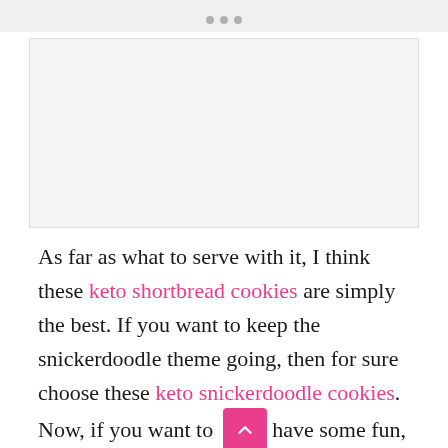• • •
[Figure (photo): Image placeholder area — photo of keto shortbread or snickerdoodle cookies]
As far as what to serve with it, I think these keto shortbread cookies are simply the best. If you want to keep the snickerdoodle theme going, then for sure choose these keto snickerdoodle cookies. Now, if you want to have some fun, then make some of these keto